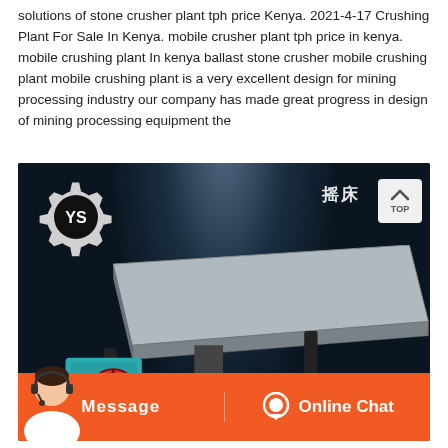solutions of stone crusher plant tph price Kenya. 2021-4-17 Crushing Plant For Sale In Kenya. mobile crusher plant tph price in kenya. mobile crushing plant In kenya ballast stone crusher mobile crushing plant mobile crushing plant is a very excellent design for mining processing industry our company has made great progress in design of mining processing equipment the
[Figure (photo): Industrial mining/mineral processing equipment - a shaking table (摇床) with a flat slanted surface, driven by an electric motor with a red flywheel. YS gear brand logo in top-left, Chinese text '摇床' in top-right, TOP navigation button, and orange bottom bar with Message and Online Chat buttons with customer service agent.]